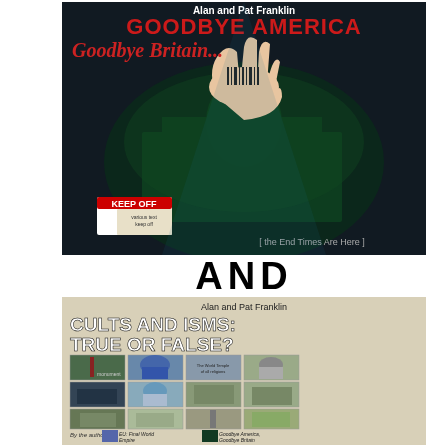[Figure (illustration): Book cover: 'Goodbye America, Goodbye Britain...' by Alan and Pat Franklin. Dark cover with image of the US Capitol building, a hand with a barcode tattoo, and red distressed text. Subtitle text reads 'the End Times Are Here'.]
AND
[Figure (illustration): Book cover: 'Cults and Isms: True or False?' by Alan and Pat Franklin. Light gray/beige cover with grid of 9 small photographs showing various religious buildings and monuments. Bottom shows small images of other books by the same authors: 'EU: Final World Empire' and 'Goodbye America, Goodbye Britain'.]